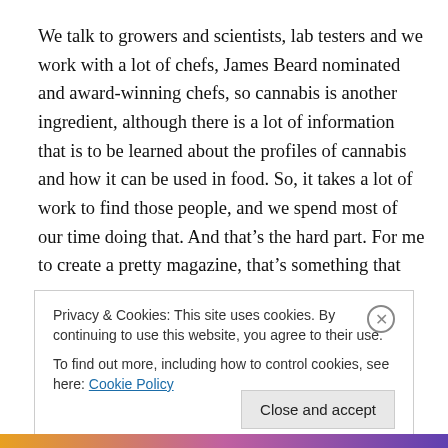We talk to growers and scientists, lab testers and we work with a lot of chefs, James Beard nominated and award-winning chefs, so cannabis is another ingredient, although there is a lot of information that is to be learned about the profiles of cannabis and how it can be used in food. So, it takes a lot of work to find those people, and we spend most of our time doing that. And that's the hard part. For me to create a pretty magazine, that's something that was
Privacy & Cookies: This site uses cookies. By continuing to use this website, you agree to their use.
To find out more, including how to control cookies, see here: Cookie Policy
Close and accept